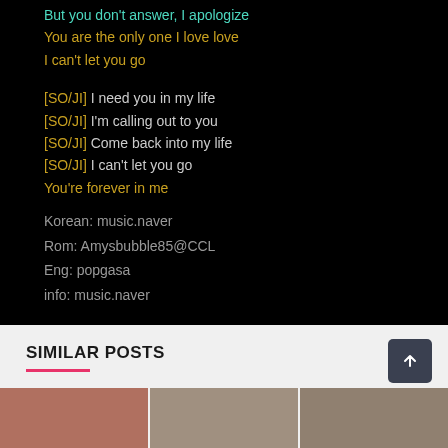But you don't answer, I apologize
You are the only one I love love
I can't let you go
[SO/JI] I need you in my life
[SO/JI] I'm calling out to you
[SO/JI] Come back into my life
[SO/JI] I can't let you go
You're forever in me
Korean: music.naver
Rom: Amysbubble85@CCL
Eng: popgasa
info: music.naver
SIMILAR POSTS